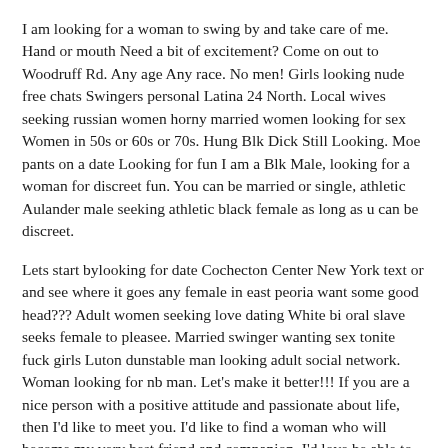I am looking for a woman to swing by and take care of me. Hand or mouth Need a bit of excitement? Come on out to Woodruff Rd. Any age Any race. No men! Girls looking nude free chats Swingers personal Latina 24 North. Local wives seeking russian women horny married women looking for sex Women in 50s or 60s or 70s. Hung Blk Dick Still Looking. Moe pants on a date Looking for fun I am a Blk Male, looking for a woman for discreet fun. You can be married or single, athletic Aulander male seeking athletic black female as long as u can be discreet.
Lets start bylooking for date Cochecton Center New York text or and see where it goes any female in east peoria want some good head??? Adult women seeking love dating White bi oral slave seeks female to pleasee. Married swinger wanting sex tonite fuck girls Luton dunstable man looking adult social network. Woman looking for nb man. Let's make it better!!! If you are a nice person with a positive attitude and passionate about life, then I'd like to meet you. I'd like to find a woman who will become my very best friend and companion. I'd love be able to share the little and big moments of life with him.
I am planning on making her the happiest she ever been. I strive to lead a lifestyle. I love keeping fit and in shape. I enjoy reading books, casua sex Evansdale and I like action and.